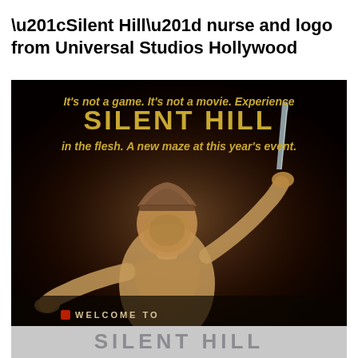“Silent Hill” nurse and logo from Universal Studios Hollywood
[Figure (photo): Promotional image for Silent Hill maze at Universal Studios Hollywood Halloween Horror Nights. Dark background with a Silent Hill nurse character holding a knife/scalpel. Golden/yellow text overlay reads: 'It's not a game. It's not a movie. Experience SILENT HILL in the flesh. A new maze at this year's event.' At the bottom 'WELCOME TO' text is partially visible.]